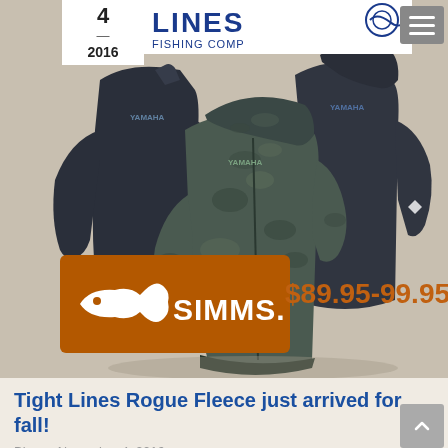4 — 2016
[Figure (photo): Three Simms Rogue Fleece jackets displayed together — two dark navy/charcoal zip-up fleeces and one camouflage patterned hooded zip-up in the center foreground. Tight Lines logo visible in top background. Simms brand badge overlaid at bottom left with price text '$89.95-99.95!' to the right.]
Tight Lines Rogue Fleece just arrived for fall!
Blog • November 4, 2016
Make sure to stop by the shop and pick up one